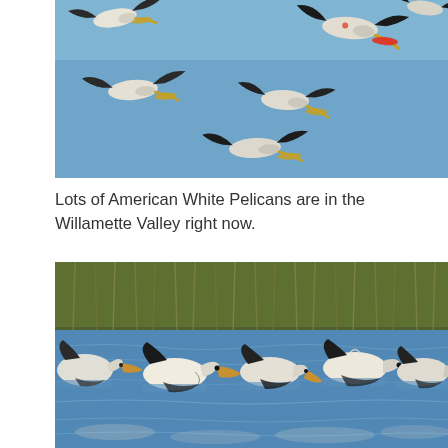[Figure (photo): Flock of American White Pelicans in flight against a clear blue sky, showing black-tipped wings spread wide.]
Lots of American White Pelicans are in the Willamette Valley right now.
[Figure (photo): Group of American White Pelicans swimming and feeding together on a calm blue lake or river, with green reeds visible in the background.]